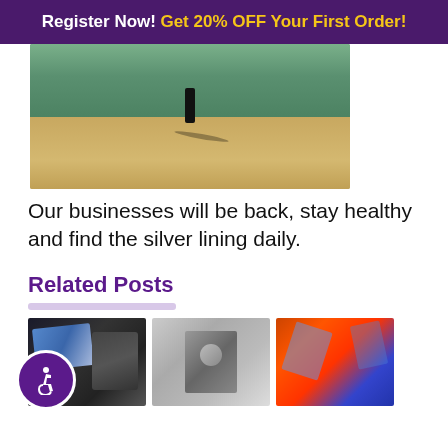Register Now! Get 20% OFF Your First Order!
[Figure (photo): Person standing on a rocky hillside with mountains and trees in background, casting a long shadow on sandy ground]
Our businesses will be back, stay healthy and find the silver lining daily.
Related Posts
[Figure (photo): Three thumbnail images: tech/cards collage (dark tones with blue accents), grayscale art portrait, and vivid fire/minerals photo with blue and orange colors. An accessibility wheelchair icon is overlaid on the bottom left.]